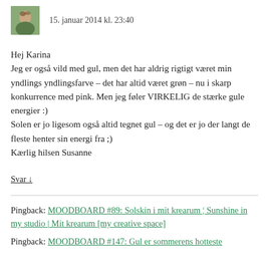[Figure (photo): Small avatar/profile photo of a person]
15. januar 2014 kl. 23:40
Hej Karina
Jeg er også vild med gul, men det har aldrig rigtigt været min yndlings yndlingsfarve – det har altid været grøn – nu i skarp konkurrence med pink. Men jeg føler VIRKELIG de stærke gule energier :)
Solen er jo ligesom også altid tegnet gul – og det er jo der langt de fleste henter sin energi fra ;)
Kærlig hilsen Susanne
Svar ↓
Pingback: MOODBOARD #89: Solskin i mit krearum ¦ Sunshine in my studio | Mit krearum [my creative space]
Pingback: MOODBOARD #147: Gul er sommerens hotteste